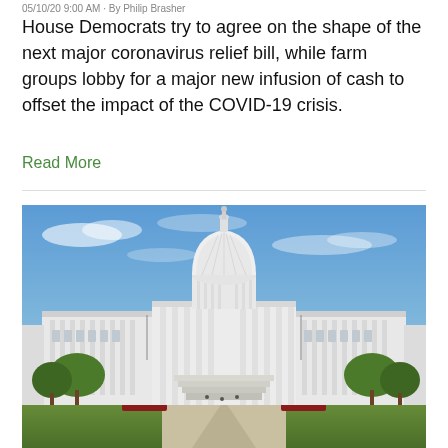05/10/20 9:00 AM · By Philip Brasher
House Democrats try to agree on the shape of the next major coronavirus relief bill, while farm groups lobby for a major new infusion of cash to offset the impact of the COVID-19 crisis.
Read More
[Figure (photo): Photograph of the United States Capitol building with a blue sky background, trees on the sides, and landscaped grounds in the foreground.]